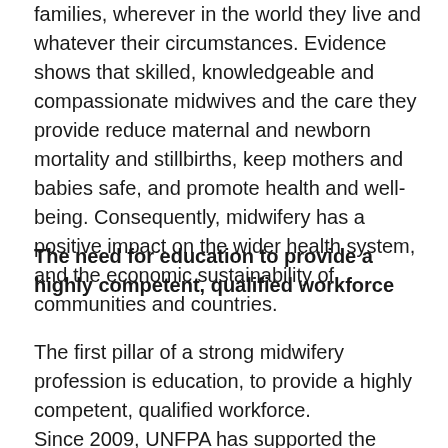families, wherever in the world they live and whatever their circumstances. Evidence shows that skilled, knowledgeable and compassionate midwives and the care they provide reduce maternal and newborn mortality and stillbirths, keep mothers and babies safe, and promote health and well-being. Consequently, midwifery has a positive impact on the wider health system, and the economic sustainability of communities and countries.
The need for education to provide a highly competent, qualified workforce
The first pillar of a strong midwifery profession is education, to provide a highly competent, qualified workforce. Since 2009, UNFPA has supported the establishment of 14 midwifery schools across the country. The schools are currently providing quality midwifery training to 600 midwife students enrolled from rural villages after graduating